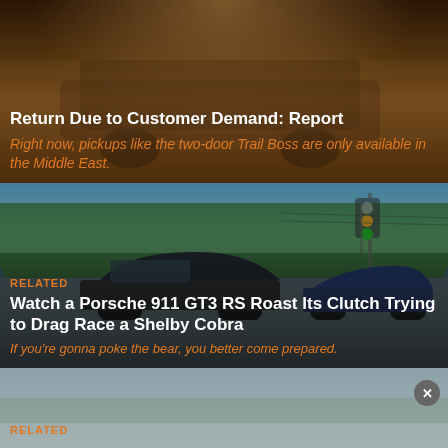[Figure (photo): Dark brownish background image, appears to be a truck/pickup scene]
Return Due to Customer Demand: Report
Right now, pickups like the two-door Trail Boss are only available in the Middle East.
[Figure (photo): Outdoor scene with cars on a road, Porsche 911 GT3 RS and Shelby Cobra, trees and sky visible]
RELATED
Watch a Porsche 911 GT3 RS Roast Its Clutch Trying to Drag Race a Shelby Cobra
If you're gonna poke the bear, you better come prepared.
[Figure (photo): Bottom partial card showing blurred outdoor scene]
RELATED